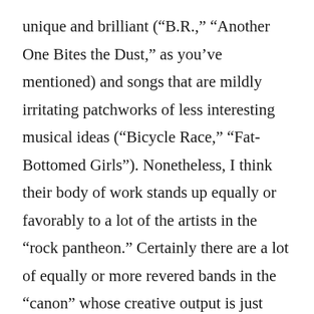unique and brilliant (“B.R.,” “Another One Bites the Dust,” as you’ve mentioned) and songs that are mildly irritating patchworks of less interesting musical ideas (“Bicycle Race,” “Fat-Bottomed Girls”). Nonetheless, I think their body of work stands up equally or favorably to a lot of the artists in the “rock pantheon.” Certainly there are a lot of equally or more revered bands in the “canon” whose creative output is just laughable put next to Queen (at risk of offending others: The Eagles, Jethro Tull, Clapton as a solo artist). There is no doubt that homophobia played a large role in Queen’s relegation to being a “niche” band throughout the 1980s, and homophobia